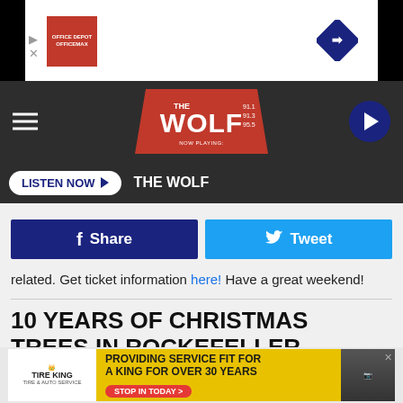[Figure (screenshot): Top ad banner with play button icon, red box advertisement, and blue diamond arrow icon]
[Figure (logo): The Wolf radio station navigation bar with hamburger menu, The Wolf 91.1 91.3 95.5 logo in red, and play button circle]
LISTEN NOW ▶  THE WOLF
[Figure (other): Facebook Share button and Twitter Tweet button]
related. Get ticket information here! Have a great weekend!
10 YEARS OF CHRISTMAS TREES IN ROCKEFELLER CENTER
Check out more than a decade of Christmas trees in Rockefeller Center.
[Figure (other): Tire King advertisement banner: PROVIDING SERVICE FIT FOR A KING FOR OVER 30 YEARS. STOP IN TODAY >]